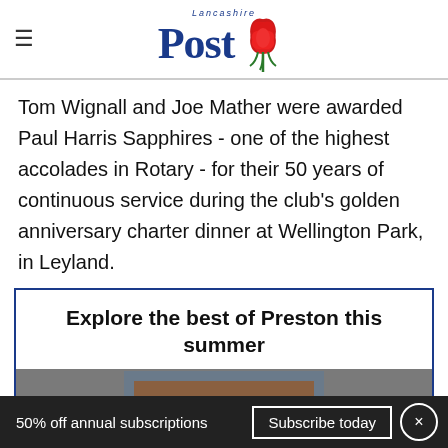Lancashire Post
Tom Wignall and Joe Mather were awarded Paul Harris Sapphires - one of the highest accolades in Rotary - for their 50 years of continuous service during the club's golden anniversary charter dinner at Wellington Park, in Leyland.
Explore the best of Preston this summer
[Figure (photo): Partially visible image of theatre or cinema seats in warm brown/orange tones, shown inside a promotional box]
50% off annual subscriptions  Subscribe today  ×